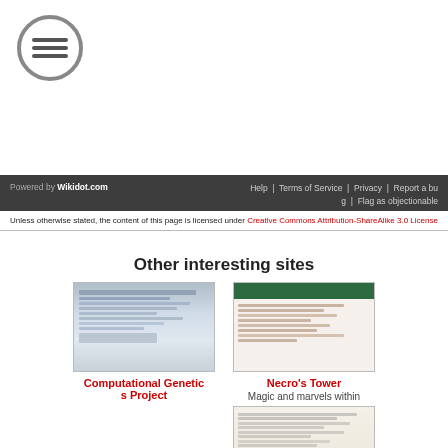[Figure (logo): Circular menu/hamburger icon with three horizontal lines]
Powered by Wikidot.com | Help | Terms of Service | Privacy | Report a bug | Flag as objectionable
Unless otherwise stated, the content of this page is licensed under Creative Commons Attribution-ShareAlike 3.0 License
Other interesting sites
[Figure (screenshot): Screenshot thumbnail of Computational Genetics Project website]
Computational Genetics Project
[Figure (screenshot): Screenshot thumbnail of Necro's Tower website with green header]
Necro's Tower
Magic and marvels within
[Figure (screenshot): Screenshot thumbnail of a third website, dark themed]